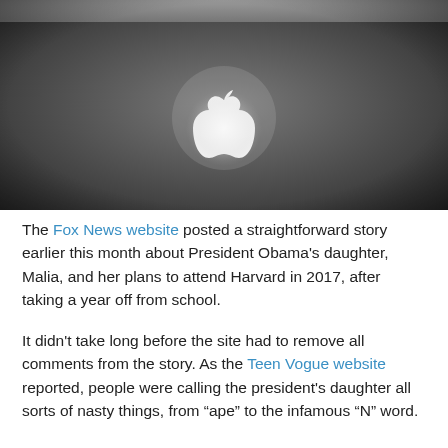[Figure (photo): Black and white photo of the back of a MacBook laptop showing the Apple logo glowing in the center against a dark metallic surface.]
The Fox News website posted a straightforward story earlier this month about President Obama's daughter, Malia, and her plans to attend Harvard in 2017, after taking a year off from school.
It didn't take long before the site had to remove all comments from the story. As the Teen Vogue website reported, people were calling the president's daughter all sorts of nasty things, from “ape” to the infamous “N” word.